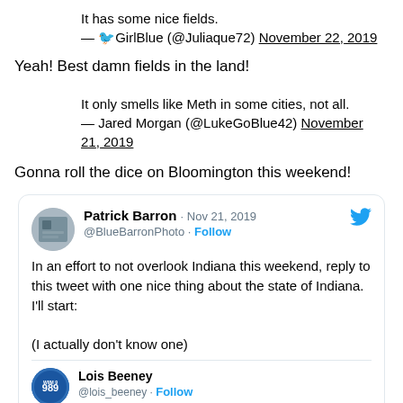It has some nice fields.
— 🐦GirlBlue (@Juliaque72) November 22, 2019
Yeah! Best damn fields in the land!
It only smells like Meth in some cities, not all.
— Jared Morgan (@LukeGoBlue42) November 21, 2019
Gonna roll the dice on Bloomington this weekend!
[Figure (screenshot): Embedded tweet card from Patrick Barron (@BlueBarronPhoto) dated Nov 21, 2019 with Twitter bird icon. Tweet reads: 'In an effort to not overlook Indiana this weekend, reply to this tweet with one nice thing about the state of Indiana. I'll start: (I actually don't know one)'. Below is a nested tweet from Lois Beeney (@lois_beeney) with Follow link.]